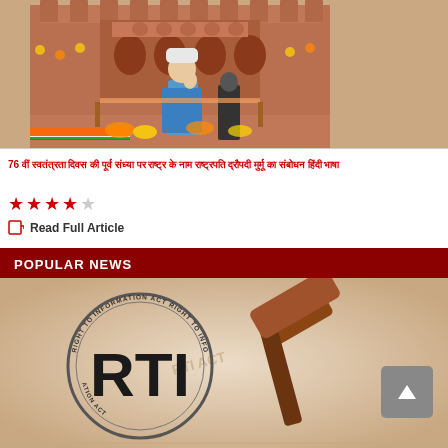[Figure (photo): Photo of Indian Prime Minister at Red Fort during Independence Day celebration, with tricolor flags and decorations visible]
76 वीं स्वतंत्रता दिवस की पूर्व संध्या पर राष्ट्र के नाम राष्ट्रपति द्रौपदी मुर्मू का संबोधन हिंदी भाषा
[Figure (other): Star rating: 4 out of 5 stars]
Read Full Article
POPULAR NEWS
[Figure (photo): Right to Information Act (RTI) stamp with gavel/hammer image on beige background]